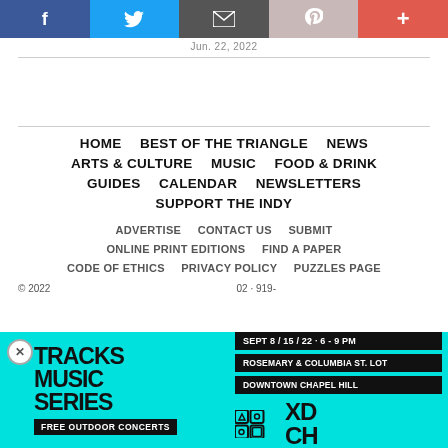Social share bar: Facebook, Twitter, Email, Pinterest, Plus
Jun. 22, 2022
[Figure (infographic): Advertisement area (blank)]
HOME
BEST OF THE TRIANGLE
NEWS
ARTS & CULTURE
MUSIC
FOOD & DRINK
GUIDES
CALENDAR
NEWSLETTERS
SUPPORT THE INDY
ADVERTISE
CONTACT US
SUBMIT
ONLINE PRINT EDITIONS
FIND A PAPER
CODE OF ETHICS
PRIVACY POLICY
PUZZLES PAGE
© 2022 · 02 · 919-
[Figure (infographic): Tracks Music Series advertisement banner. Cyan/turquoise background. Text: TRACKS MUSIC SERIES, SEPT 8 / 15 / 22 · 6 - 9 PM, ROSEMARY & COLUMBIA ST. LOT, DOWNTOWN CHAPEL HILL, FREE OUTDOOR CONCERTS. Logos: Community Arts & Culture, XDCH.]